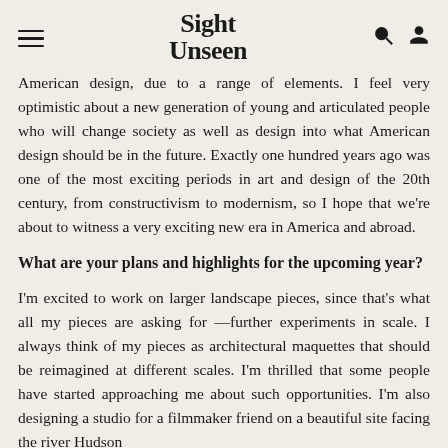Sight Unseen
American design, due to a range of elements. I feel very optimistic about a new generation of young and articulated people who will change society as well as design into what American design should be in the future. Exactly one hundred years ago was one of the most exciting periods in art and design of the 20th century, from constructivism to modernism, so I hope that we're about to witness a very exciting new era in America and abroad.
What are your plans and highlights for the upcoming year?
I'm excited to work on larger landscape pieces, since that's what all my pieces are asking for — further experiments in scale. I always think of my pieces as architectural maquettes that should be reimagined at different scales. I'm thrilled that some people have started approaching me about such opportunities. I'm also designing a studio for a filmmaker friend on a beautiful site facing the river Hudson